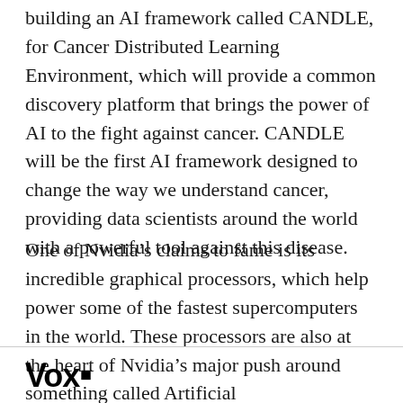building an AI framework called CANDLE, for Cancer Distributed Learning Environment, which will provide a common discovery platform that brings the power of AI to the fight against cancer. CANDLE will be the first AI framework designed to change the way we understand cancer, providing data scientists around the world with a powerful tool against this disease.
One of Nvidia’s claims to fame is its incredible graphical processors, which help power some of the fastest supercomputers in the world. These processors are also at the heart of Nvidia’s major push around something called Artificial
Vox